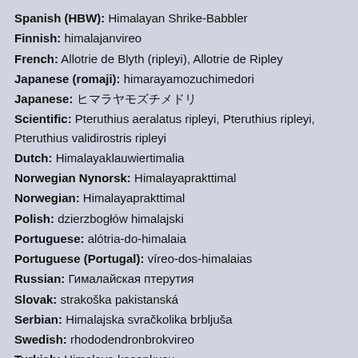Spanish (HBW): Himalayan Shrike-Babbler
Finnish: himalajanvireo
French: Allotrie de Blyth (ripleyi), Allotrie de Ripley
Japanese (romaji): himarayamozuchimedori
Japanese: ヒマラヤモズチメドリ
Scientific: Pteruthius aeralatus ripleyi, Pteruthius ripleyi, Pteruthius validirostris ripleyi
Dutch: Himalayaklauwiertimalia
Norwegian Nynorsk: Himalayaprakttimal
Norwegian: Himalayaprakttimal
Polish: dzierzbogłów himalajski
Portuguese: alótria-do-himalaia
Portuguese (Portugal): víreo-dos-himalaias
Russian: Гималайская птерутия
Slovak: strakoška pakistanská
Serbian: Himalajska svračkolika brbljuša
Swedish: rhododendronbrokvireo
Turkish: Himalaya kasapkuşu
Ukrainian: янчик гімалайський